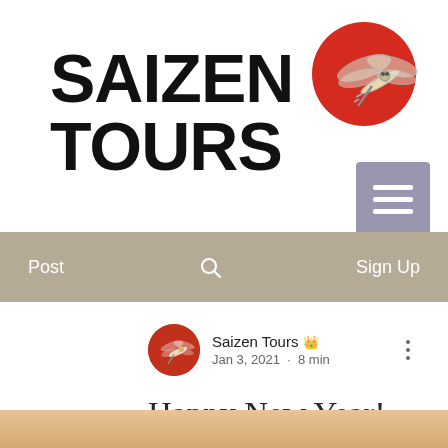[Figure (logo): Saizen Tours logo with bold black text 'SAIZEN TOURS' and a red circle with dragonfly illustration, plus a purple/grey hamburger menu button]
Post   🔍   Sign Up
Saizen Tours 👑
Jan 3, 2021 · 8 min
Happy New Year!
[Figure (photo): Partial bottom image showing warm beige/tan tones, appears to be a photo cropped at page bottom]